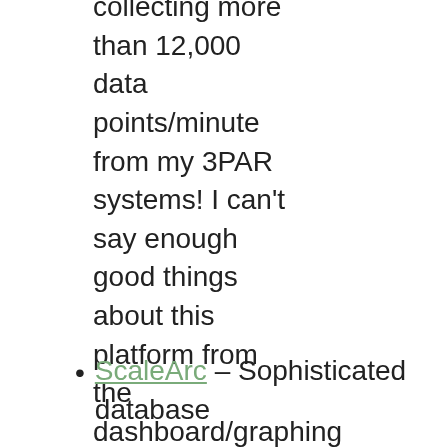collecting more than 12,000 data points/minute from my 3PAR systems! I can't say enough good things about this platform from the dashboard/graphing standpoint(since that is all I use it for right now)
ScaleArc – Sophisticated database